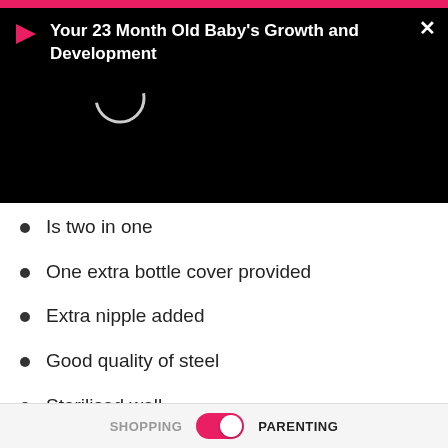[Figure (screenshot): Video banner overlay with play icon, loading circle, title 'Your 23 Month Old Baby's Growth and Development', and close X button]
Is two in one
One extra bottle cover provided
Extra nipple added
Good quality of steel
Sterilised well
Lightweight
Baby can hold it herself
A must-have product
SHOPPING   PARENTING